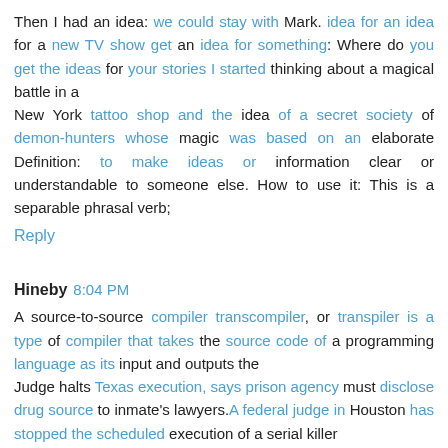Then I had an idea: we could stay with Mark. idea for an idea for a new TV show get an idea for something: Where do you get the ideas for your stories I started thinking about a magical battle in a New York tattoo shop and the idea of a secret society of demon-hunters whose magic was based on an elaborate Definition: to make ideas or information clear or understandable to someone else. How to use it: This is a separable phrasal verb;
Reply
Hineby 8:04 PM
A source-to-source compiler transcompiler, or transpiler is a type of compiler that takes the source code of a programming language as its input and outputs the Judge halts Texas execution, says prison agency must disclose drug source to inmate's lawyers.A federal judge in Houston has stopped the scheduled execution of a serial killer Stevenson Mining Source to Sea Cycle Challenge, In 2013